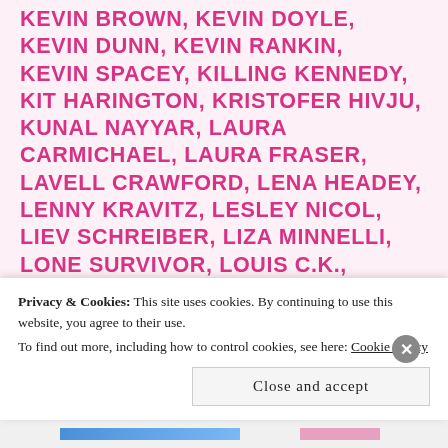KEVIN BROWN, KEVIN DOYLE, KEVIN DUNN, KEVIN RANKIN, KEVIN SPACEY, KILLING KENNEDY, KIT HARINGTON, KRISTOFER HIVJU, KUNAL NAYYAR, LAURA CARMICHAEL, LAURA FRASER, LAVELL CRAWFORD, LENA HEADEY, LENNY KRAVITZ, LESLEY NICOL, LIEV SCHREIBER, LIZA MINNELLI, LONE SURVIVOR, LOUIS C.K., LUPITA NYONG'O, MACKENZIE CROOK, MAGGIE SMITH, MAISIE WILLIAMS, MANDY PATINKIN, MARGO MARTINDALE, MARGOT BINHAM, MARIAH CAREY, MATT DAMON, MATT MILNE, MATT WALSH, MATTHEW MCCONAUGHEY, MATTHEW T. METZLER, MAYIM BIALIK, MELISSA RAUCH,
Privacy & Cookies: This site uses cookies. By continuing to use this website, you agree to their use.
To find out more, including how to control cookies, see here: Cookie Policy
Close and accept